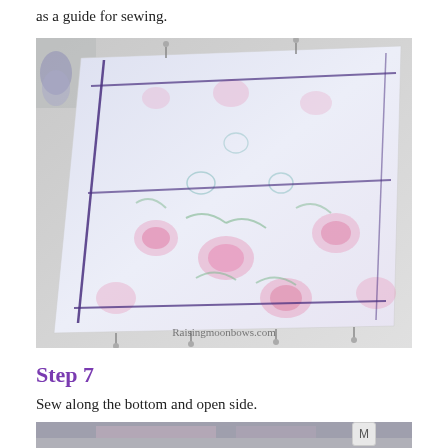as a guide for sewing.
[Figure (photo): Floral fabric laid flat on a white surface, showing drawn lines as sewing guides, with pins along the edges. Watermark reads 'Raisingmoonbows.com']
Step 7
Sew along the bottom and open side.
[Figure (photo): Partial bottom view of fabric/sewing project, cropped.]